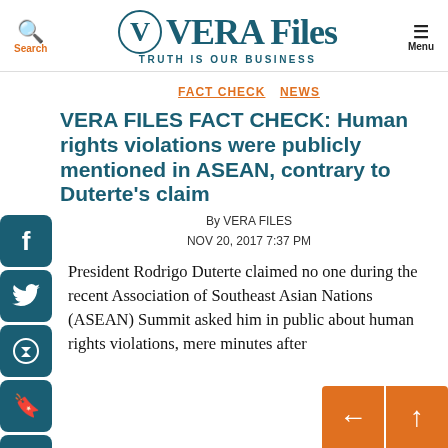VERA Files — TRUTH IS OUR BUSINESS
FACT CHECK   NEWS
VERA FILES FACT CHECK: Human rights violations were publicly mentioned in ASEAN, contrary to Duterte's claim
By VERA FILES
NOV 20, 2017 7:37 PM
President Rodrigo Duterte claimed no one during the recent Association of Southeast Asian Nations (ASEAN) Summit asked him in public about human rights violations, mere minutes after